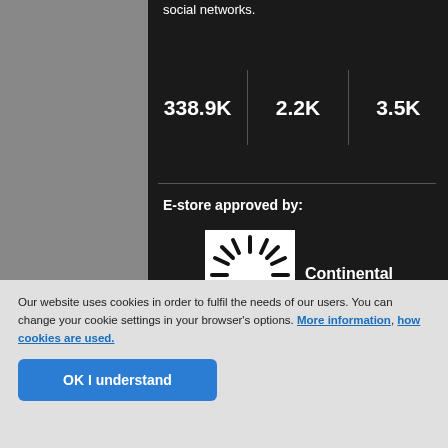social networks.
| 338.9K | 2.2K | 3.5K |
E-store approved by:
[Figure (logo): Continental logo - circular sunburst/gear icon in black and white]
Continental
Our website uses cookies in order to fulfil the needs of our users. You can change your cookie settings in your browser's options. More information, how cookies are used.